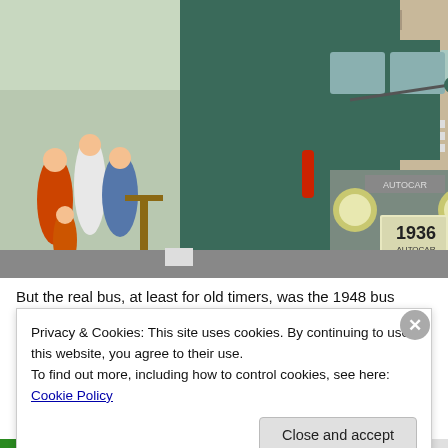[Figure (photo): A 1936 Autocar vintage green bus/truck on display at an outdoor event. People including children are visible on the left side. The vehicle has round headlights, chrome front bumper, and a license plate reading '1936 AUTOCAR'. Buildings are visible in the background.]
But the real bus, at least for old timers, was the 1948 bus
Privacy & Cookies: This site uses cookies. By continuing to use this website, you agree to their use.
To find out more, including how to control cookies, see here: Cookie Policy
Close and accept